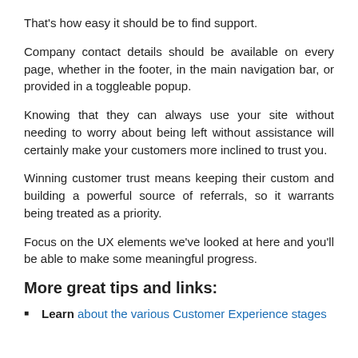That's how easy it should be to find support.
Company contact details should be available on every page, whether in the footer, in the main navigation bar, or provided in a toggleable popup.
Knowing that they can always use your site without needing to worry about being left without assistance will certainly make your customers more inclined to trust you.
Winning customer trust means keeping their custom and building a powerful source of referrals, so it warrants being treated as a priority.
Focus on the UX elements we've looked at here and you'll be able to make some meaningful progress.
More great tips and links:
Learn about the various Customer Experience stages